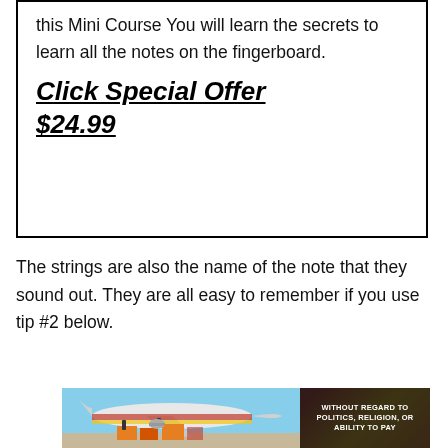this Mini Course You will learn the secrets to learn all the notes on the fingerboard.
Click Special Offer $24.99
The strings are also the name of the note that they sound out. They are all easy to remember if you use tip #2 below.
[Figure (photo): Advertisement banner showing an airplane being loaded with cargo, with a dark overlay on the right reading 'WITHOUT REGARD TO POLITICS, RELIGION, OR ABILITY TO PAY']